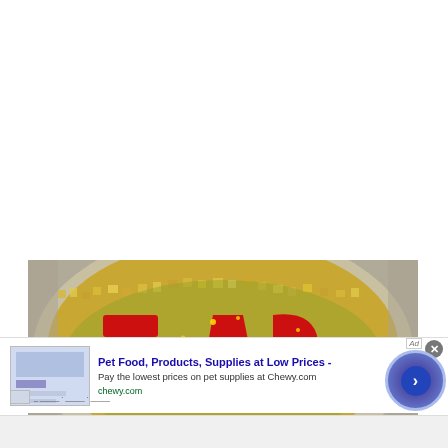[Figure (photo): Close-up photograph of a circular mosaic sign with red raised letters and gold glittery mosaic background, partially visible letters appear to spell part of 'ATLAS' or similar word]
[Figure (screenshot): Web advertisement banner for Chewy.com: 'Pet Food, Products, Supplies at Low Prices - Pay the lowest prices on pet supplies at Chewy.com' with thumbnail image, close button (x), and navigational arrow button. Ad label 'Ad' visible top right.]